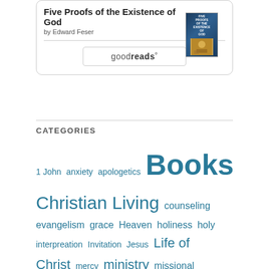Five Proofs of the Existence of God by Edward Feser
[Figure (illustration): Book cover for 'Five Proofs of the Existence of God' with dark blue background and gold imagery]
[Figure (logo): Goodreads button/logo with rounded rectangle border]
CATEGORIES
1 John
anxiety
apologetics
Books
Christian Living
counseling
evangelism
grace
Heaven
holiness
holy
interpreation
Invitation
Jesus
Life of Christ
mercy
ministry
missional